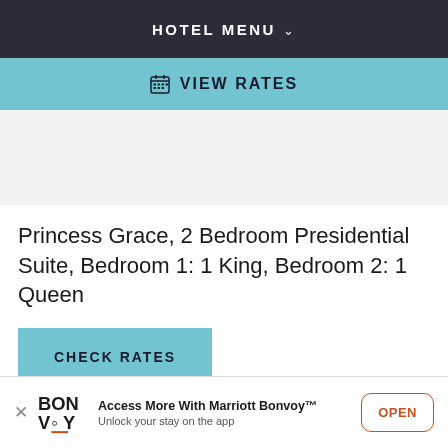HOTEL MENU
VIEW RATES
Princess Grace, 2 Bedroom Presidential Suite, Bedroom 1: 1 King, Bedroom 2: 1 Queen
CHECK RATES
Access More With Marriott Bonvoy™ Unlock your stay on the app